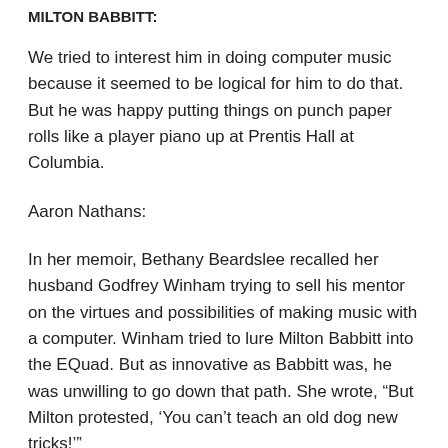MILTON BABBITT:
We tried to interest him in doing computer music because it seemed to be logical for him to do that. But he was happy putting things on punch paper rolls like a player piano up at Prentis Hall at Columbia.
Aaron Nathans:
In her memoir, Bethany Beardslee recalled her husband Godfrey Winham trying to sell his mentor on the virtues and possibilities of making music with a computer. Winham tried to lure Milton Babbitt into the EQuad. But as innovative as Babbitt was, he was unwilling to go down that path. She wrote, “But Milton protested, ‘You can’t teach an old dog new tricks!’”